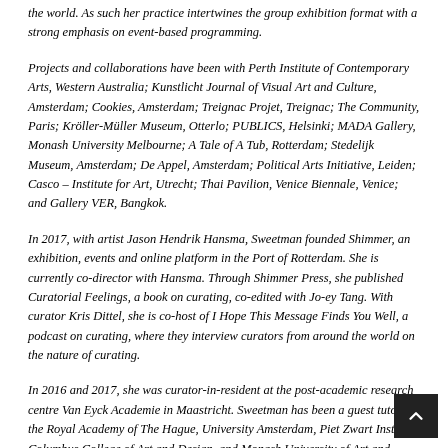the world. As such her practice intertwines the group exhibition format with a strong emphasis on event-based programming.
Projects and collaborations have been with Perth Institute of Contemporary Arts, Western Australia; Kunstlicht Journal of Visual Art and Culture, Amsterdam; Cookies, Amsterdam; Treignac Projet, Treignac; The Community, Paris; Kröller-Müller Museum, Otterlo; PUBLICS, Helsinki; MADA Gallery, Monash University Melbourne; A Tale of A Tub, Rotterdam; Stedelijk Museum, Amsterdam; De Appel, Amsterdam; Political Arts Initiative, Leiden; Casco – Institute for Art, Utrecht; Thai Pavilion, Venice Biennale, Venice; and Gallery VER, Bangkok.
In 2017, with artist Jason Hendrik Hansma, Sweetman founded Shimmer, an exhibition, events and online platform in the Port of Rotterdam. She is currently co-director with Hansma. Through Shimmer Press, she published Curatorial Feelings, a book on curating, co-edited with Jo-ey Tang. With curator Kris Dittel, she is co-host of I Hope This Message Finds You Well, a podcast on curating, where they interview curators from around the world on the nature of curating.
In 2016 and 2017, she was curator-in-resident at the post-academic research centre Van Eyck Academie in Maastricht. Sweetman has been a guest tutor at the Royal Academy of The Hague, University Amsterdam, Piet Zwart Institute, Columbus College of Art and Design, and Monash University of Art and Design. Currently, she is a